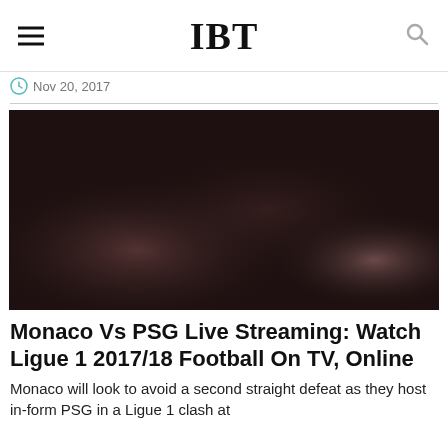IBT
Nov 20, 2017
[Figure (photo): Dark blurred image of a football/soccer stadium or players, used as article header image]
Monaco Vs PSG Live Streaming: Watch Ligue 1 2017/18 Football On TV, Online
Monaco will look to avoid a second straight defeat as they host in-form PSG in a Ligue 1 clash at